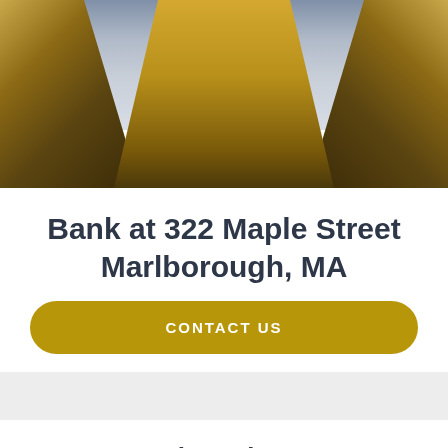[Figure (photo): Upward-angled photo of building architecture with golden/brown building edges converging toward sky, with overcast blue-gray sky visible in the center]
Bank at 322 Maple Street Marlborough, MA
CONTACT US
Come in and see us.
The Berkshire Bank team at 322 Maple Street in